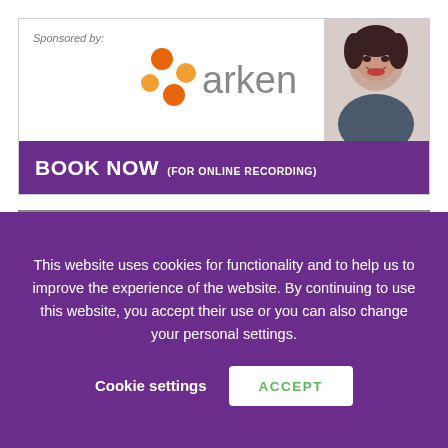[Figure (infographic): Arken sponsored banner ad with 'Sponsored by: arken' logo and dots, photo of a smiling woman, purple 'BOOK NOW (FOR ONLINE RECORDING)' bar at the bottom]
[Figure (logo): LawSkills logo with 'Online Course' text on the right side, bordered in purple]
This website uses cookies for functionality and to help us to improve the experience of the website. By continuing to use this website, you accept their use or you can also change your personal settings.
Cookie settings
ACCEPT